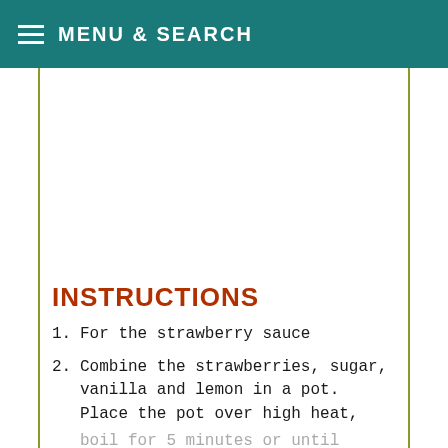MENU & SEARCH
INSTRUCTIONS
For the strawberry sauce
Combine the strawberries, sugar, vanilla and lemon in a pot. Place the pot over high heat, boil for 5 minutes or until strawberries have started to break down. Mix together the